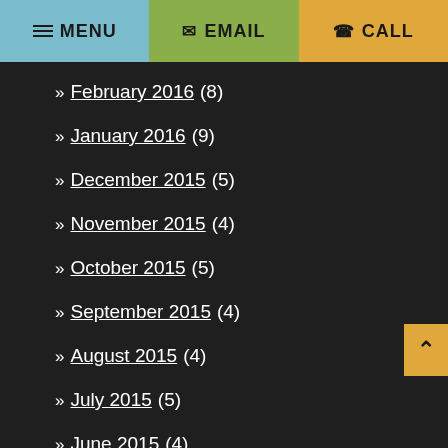MENU | EMAIL | CALL
» February 2016 (8)
» January 2016 (9)
» December 2015 (5)
» November 2015 (4)
» October 2015 (5)
» September 2015 (4)
» August 2015 (4)
» July 2015 (5)
» June 2015 (4)
» May 2015 (4)
» April 2015 (5)